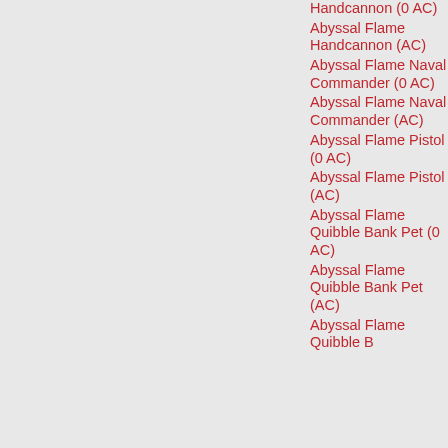Handcannon (0 AC)
Abyssal Flame Handcannon (AC)
Abyssal Flame Naval Commander (0 AC)
Abyssal Flame Naval Commander (AC)
Abyssal Flame Pistol (0 AC)
Abyssal Flame Pistol (AC)
Abyssal Flame Quibble Bank Pet (0 AC)
Abyssal Flame Quibble Bank Pet (AC)
Abyssal Flame Quibble B...